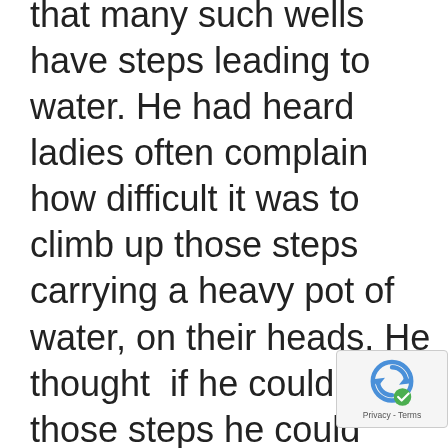that many such wells have steps leading to water. He had heard ladies often complain how difficult it was to climb up those steps carrying a heavy pot of water, on their heads. He thought  if he could reach those steps he could climb out. So he began to search for the steps  feeling with his hands  for a break in the wall. For a blind man it was frustrating work, the moss on the wall and water plants that grow hindered his work. He was aware that even if he found the steps , it would be too difficult for him to climb up. He was more likely to fall back water. He tried to avoid negative
[Figure (other): reCAPTCHA logo badge with Privacy - Terms text]